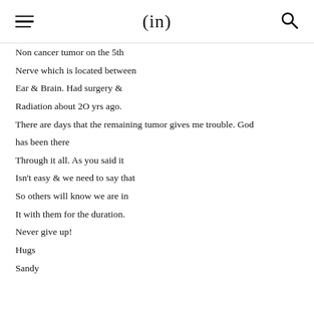(in)
Non cancer tumor on the 5th Nerve which is located between Ear & Brain. Had surgery & Radiation about 2O yrs ago. There are days that the remaining tumor gives me trouble. God has been there Through it all. As you said it Isn't easy & we need to say that So others will know we are in It with them for the duration. Never give up! Hugs Sandy